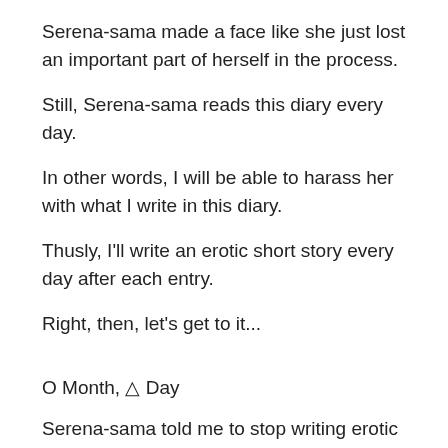Serena-sama made a face like she just lost an important part of herself in the process.
Still, Serena-sama reads this diary every day.
In other words, I will be able to harass her with what I write in this diary.
Thusly, I'll write an erotic short story every day after each entry.
Right, then, let's get to it...
O Month, △ Day
Serena-sama told me to stop writing erotic stories.
I told her that making such an unreasonable order